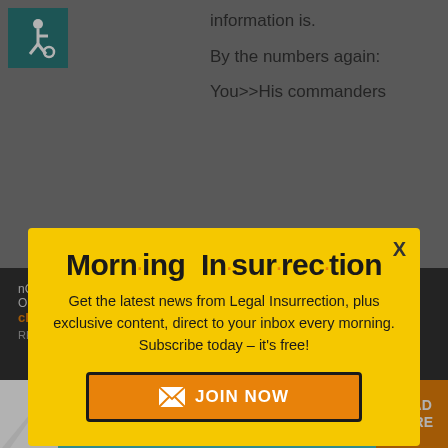[Figure (illustration): Wheelchair accessibility icon on teal background]
information is.
By the numbers again:
You>>His commanders
[Figure (infographic): Morning Insurrection newsletter signup modal popup with yellow background. Title: Morn·ing In·sur·rec·tion. Body text: Get the latest news from Legal Insurrection, plus exclusive content, direct to your inbox every morning. Subscribe today – it's free! Button: JOIN NOW with envelope icon. Close button X in top right.]
[Figure (infographic): Bottom advertisement banner: THE PERSPECTIVE - SEE WHAT YOU'RE MISSING - READ MORE on orange background, teal mid section]